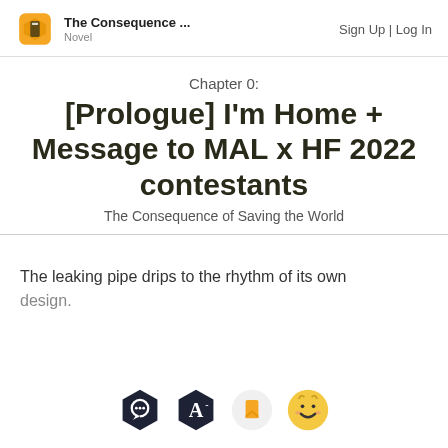The Consequence ... Novel | Sign Up | Log In
Chapter 0:
[Prologue] I'm Home + Message to MAL x HF 2022 contestants
The Consequence of Saving the World
The leaking pipe drips to the rhythm of its own design.
[Figure (screenshot): Bottom toolbar with four icons: comment bubble hexagon, font size hexagon, bookmark orange, and smiley face emoji]